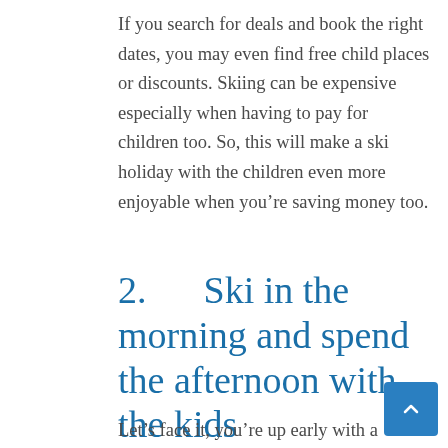If you search for deals and book the right dates, you may even find free child places or discounts. Skiing can be expensive especially when having to pay for children too. So, this will make a ski holiday with the children even more enjoyable when you’re saving money too.
2.    Ski in the morning and spend the afternoon with the kids
Let’s face it, you’re up early with a